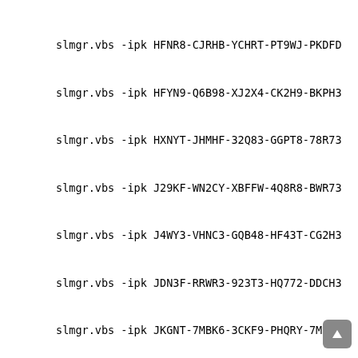slmgr.vbs -ipk HFNR8-CJRHB-YCHRT-PT9WJ-PKDFD
slmgr.vbs -ipk HFYN9-Q6B98-XJ2X4-CK2H9-BKPH3
slmgr.vbs -ipk HXNYT-JHMHF-32Q83-GGPT8-78R73
slmgr.vbs -ipk J29KF-WN2CY-XBFFW-4Q8R8-BWR73
slmgr.vbs -ipk J4WY3-VHNC3-GQB48-HF43T-CG2H3
slmgr.vbs -ipk JDN3F-RRWR3-923T3-HQ772-DDCH3
slmgr.vbs -ipk JKGNT-7MBK6-3CKF9-PHQRY-7MJV3
slmgr.vbs -ipk JXNWM-VK8B8-HWTXY-FD27F-JHWV3
slmgr.vbs -ipk KD6NF-M4F4J-MXDCB-7DQB3-49DFD
slmgr.vbs -ipk KFRVM-NF8JD-WY3FR-8RB6P-MP3FD
slmgr.vbs -ipk KNBFC-HGRB4-HVV3Y-Q6CPG-V6FBQ
slmgr.vbs -ipk KNBVG-XP2F4-X7JMF-R884G-3V7YQ
slmgr.vbs -ipk KNCTP-Q63Y7-V84V8-9JWKB-B4HYQ
slmgr.vbs -ipk KTCNF-BWHC4-YQT8Y-2MVDY-PR473
slmgr.vbs -ipk M4NWK-KPMDG-7C4P9-DJ7QR-37BMQ
slmgr.vbs -ipk MGHCN-G4XR9-XJTJ4-DVJQH-2R473
slmgr.vbs -ipk MN74T-H7RPT-8F3HF-4TC3K-QV7YQ
slmgr.vbs -ipk MNMM3-44FHT-HDQ7Q-WC8CF-TVKRD
slmgr.vbs -ipk MPNWJ-H6GB2-H4YYD-RG8CM-BBJV3
slmgr.vbs -ipk MYHRN-PHVKH-H7YB6-98HHT-WXDFD
slmgr.vbs -ipk MYWKN-R8KGH-33BR9-4JDFY-DPF73
slmgr.vbs -ipk N3G6C-7FTJ6-VFRPD-DTWQY-TXYMQ